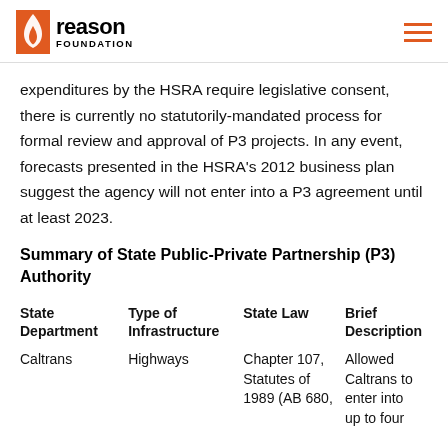Reason Foundation
expenditures by the HSRA require legislative consent, there is currently no statutorily-mandated process for formal review and approval of P3 projects. In any event, forecasts presented in the HSRA's 2012 business plan suggest the agency will not enter into a P3 agreement until at least 2023.
Summary of State Public-Private Partnership (P3) Authority
| State Department | Type of Infrastructure | State Law | Brief Description |
| --- | --- | --- | --- |
| Caltrans | Highways | Chapter 107, Statutes of 1989 (AB 680, | Allowed Caltrans to enter into up to four |